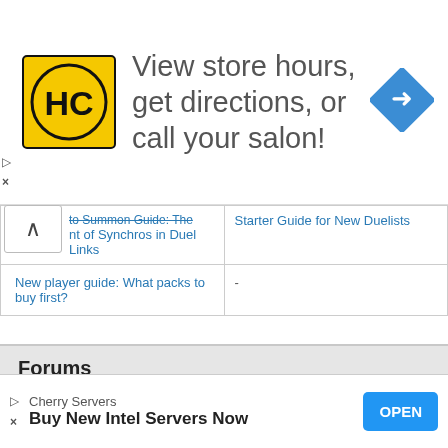[Figure (illustration): Advertisement banner: HC logo (yellow circle with black HC letters), text 'View store hours, get directions, or call your salon!', blue diamond arrow icon on the right]
|  |  |
| --- | --- |
| to Summon Guide: The nt of Synchros in Duel Links | Starter Guide for New Duelists |
| New player guide: What packs to buy first? | - |
Forums
| Duel Links forums |  |
| --- | --- |
| General discussion | Vagabond trade |
[Figure (screenshot): Bottom advertisement: Cherry Servers - Buy New Intel Servers Now, with OPEN button]